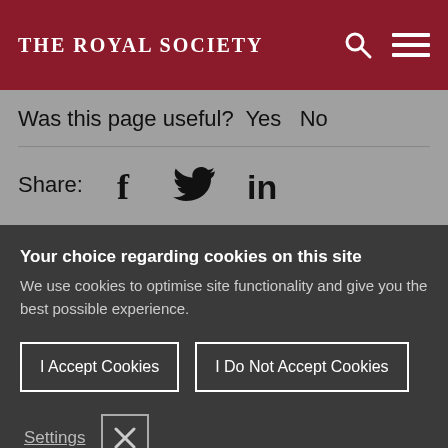THE ROYAL SOCIETY
Was this page useful? Yes No
Share:
[Figure (infographic): Social media share icons: Facebook (f), Twitter (bird), LinkedIn (in)]
Your choice regarding cookies on this site
We use cookies to optimise site functionality and give you the best possible experience.
I Accept Cookies
I Do Not Accept Cookies
Settings